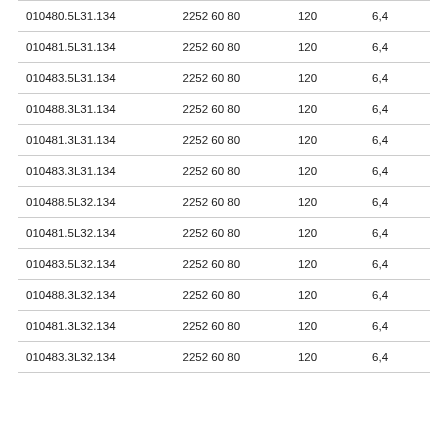| 010480.5L31.134 | 2252 60 80 | 120 | 6,4 |
| 010481.5L31.134 | 2252 60 80 | 120 | 6,4 |
| 010483.5L31.134 | 2252 60 80 | 120 | 6,4 |
| 010488.3L31.134 | 2252 60 80 | 120 | 6,4 |
| 010481.3L31.134 | 2252 60 80 | 120 | 6,4 |
| 010483.3L31.134 | 2252 60 80 | 120 | 6,4 |
| 010488.5L32.134 | 2252 60 80 | 120 | 6,4 |
| 010481.5L32.134 | 2252 60 80 | 120 | 6,4 |
| 010483.5L32.134 | 2252 60 80 | 120 | 6,4 |
| 010488.3L32.134 | 2252 60 80 | 120 | 6,4 |
| 010481.3L32.134 | 2252 60 80 | 120 | 6,4 |
| 010483.3L32.134 | 2252 60 80 | 120 | 6,4 |